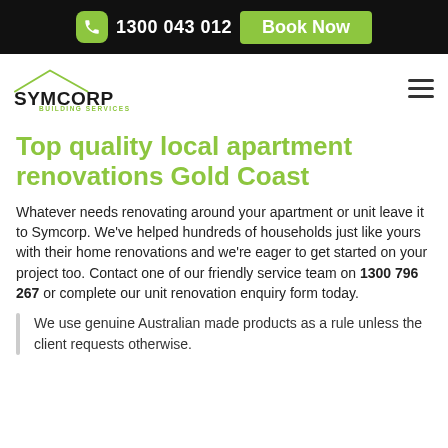1300 043 012  Book Now
[Figure (logo): Symcorp Building Services logo with green roof outline above bold text]
Top quality local apartment renovations Gold Coast
Whatever needs renovating around your apartment or unit leave it to Symcorp. We've helped hundreds of households just like yours with their home renovations and we're eager to get started on your project too. Contact one of our friendly service team on 1300 796 267 or complete our unit renovation enquiry form today.
We use genuine Australian made products as a rule unless the client requests otherwise.